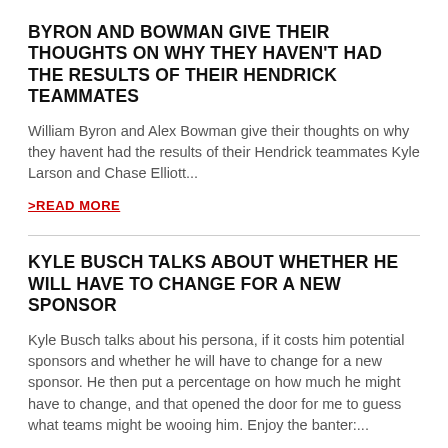BYRON AND BOWMAN GIVE THEIR THOUGHTS ON WHY THEY HAVEN'T HAD THE RESULTS OF THEIR HENDRICK TEAMMATES
William Byron and Alex Bowman give their thoughts on why they havent had the results of their Hendrick teammates Kyle Larson and Chase Elliott...
>READ MORE
KYLE BUSCH TALKS ABOUT WHETHER HE WILL HAVE TO CHANGE FOR A NEW SPONSOR
Kyle Busch talks about his persona, if it costs him potential sponsors and whether he will have to change for a new sponsor. He then put a percentage on how much he might have to change, and that opened the door for me to guess what teams might be wooing him. Enjoy the banter:...